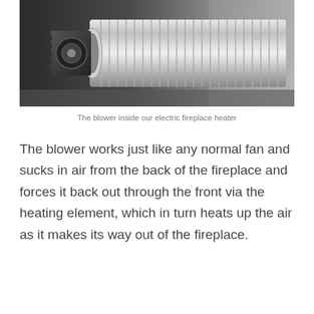[Figure (photo): Close-up photograph of the cylindrical blower/fan unit inside an electric fireplace heater, showing metallic fins, gears, and chrome components against a dark background.]
The blower inside our electric fireplace heater
The blower works just like any normal fan and sucks in air from the back of the fireplace and forces it back out through the front via the heating element, which in turn heats up the air as it makes its way out of the fireplace.